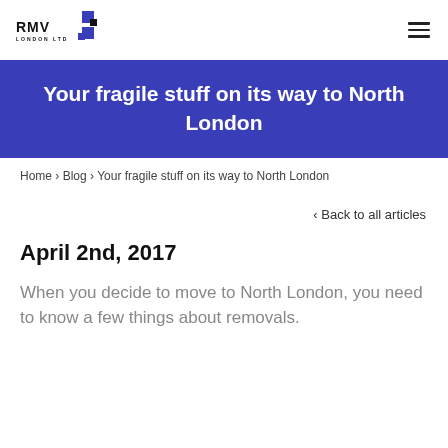RMV LONDON LTD
Your fragile stuff on its way to North London
Home › Blog › Your fragile stuff on its way to North London
‹ Back to all articles
April 2nd, 2017
When you decide to move to North London, you need to know a few things about removals.